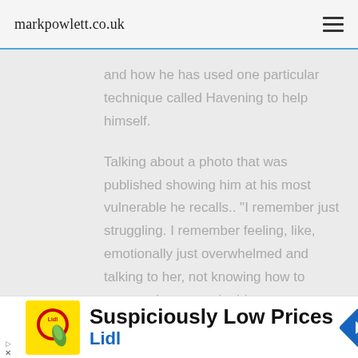markpowlett.co.uk
and how he has used one particular technique called Havening to help himself.
Talking about a photo that was published showing him at his most vulnerable he recalls.. "I remember just struggling. I remember feeling, like, emotionally just overwhelmed and talking to her, not knowing how to communicate certain things
[Figure (screenshot): Advertisement banner for Lidl showing yellow Lidl logo with a pickle image, text 'Suspiciously Low Prices' in bold black and 'Lidl' in blue, with a blue diamond-shaped directional arrow icon on the right.]